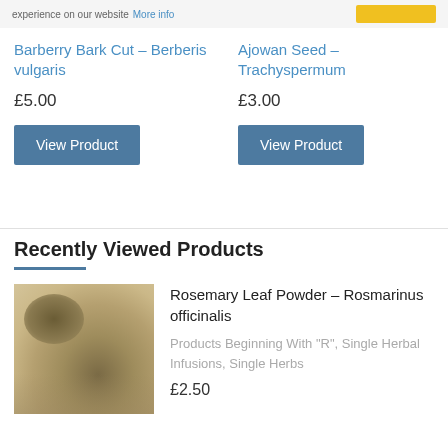experience on our website More info
Barberry Bark Cut – Berberis vulgaris
£5.00
View Product
Ajowan Seed – Trachyspermum
£3.00
View Product
Recently Viewed Products
[Figure (photo): Rosemary leaf powder – a close-up photo of green-brown powdered herb]
Rosemary Leaf Powder – Rosmarinus officinalis
Products Beginning With "R", Single Herbal Infusions, Single Herbs
£2.50